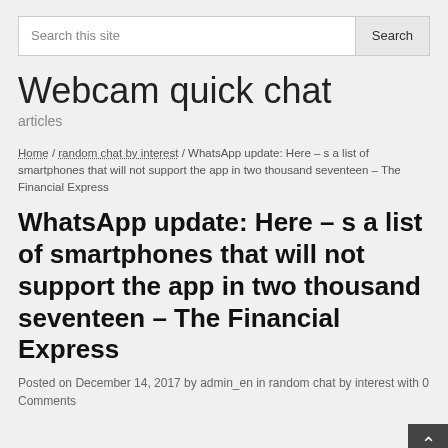Search this site | Search
Webcam quick chat
articles
Home / random chat by interest / WhatsApp update: Here – s a list of smartphones that will not support the app in two thousand seventeen – The Financial Express
WhatsApp update: Here – s a list of smartphones that will not support the app in two thousand seventeen – The Financial Express
Posted on December 14, 2017 by admin_en in random chat by interest with 0 Comments